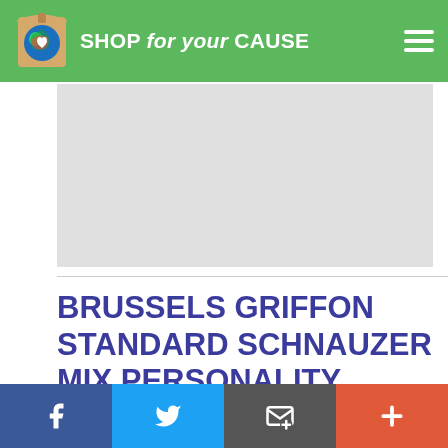SHOP for your CAUSE
[Figure (other): Advertisement placeholder area, light gray background]
BRUSSELS GRIFFON STANDARD SCHNAUZER MIX PERSONALITY
The Brussels Griffon and the Standard Schnauzer might be a little bit spunky. They can be an
Social share bar: Facebook, Twitter, Email, Plus